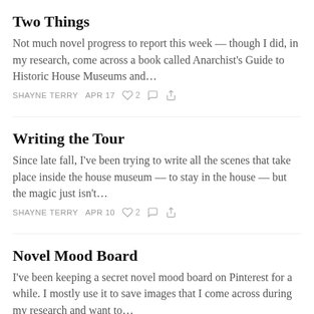Two Things
Not much novel progress to report this week — though I did, in my research, come across a book called Anarchist's Guide to Historic House Museums and…
SHAYNE TERRY   APR 17   ♡ 2   ○   ↗
Writing the Tour
Since late fall, I've been trying to write all the scenes that take place inside the house museum — to stay in the house — but the magic just isn't…
SHAYNE TERRY   APR 10   ♡ 2   ○   ↗
Novel Mood Board
I've been keeping a secret novel mood board on Pinterest for a while. I mostly use it to save images that I come across during my research and want to…
SHAYNE TERRY   APR 3   ♡ 2   ○   ↗